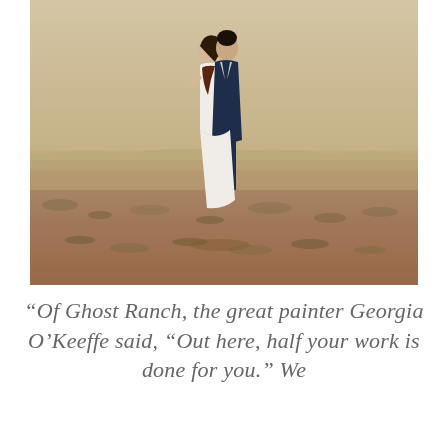[Figure (photo): A couple standing in a desert/scrubland setting. A woman in a white dress with a dark shawl stands embraced by a man in a dark navy suit. The background shows dry grassland and reddish-brown soil typical of the American Southwest.]
“Of Ghost Ranch, the great painter Georgia O’Keeffe said, “Out here, half your work is done for you.” We